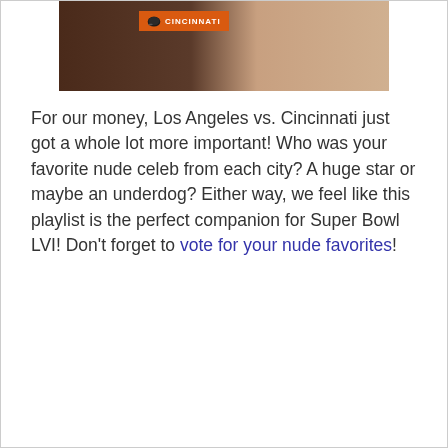[Figure (photo): Cropped image showing a Cincinnati football helmet badge on an orange banner alongside a partial figure in a dark background.]
For our money, Los Angeles vs. Cincinnati just got a whole lot more important! Who was your favorite nude celeb from each city? A huge star or maybe an underdog? Either way, we feel like this playlist is the perfect companion for Super Bowl LVI! Don't forget to vote for your nude favorites!